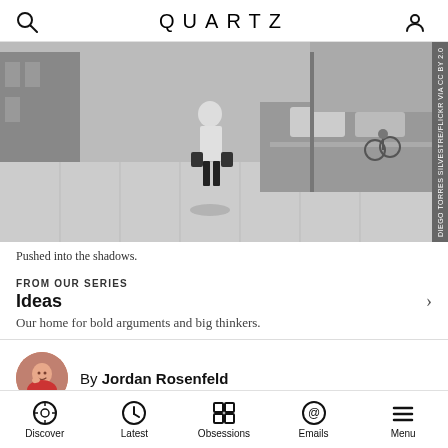QUARTZ
[Figure (photo): Black and white street photograph of an older man walking away from camera carrying two bags, on a city sidewalk with buildings, cars, and a cyclist visible in the background. Photo credit: Diego Torres Silvestre/Flickr via CC BY 2.0]
Pushed into the shadows.
FROM OUR SERIES
Ideas
Our home for bold arguments and big thinkers.
By Jordan Rosenfeld
Published February 19, 2016 · Last updated July 21, 2022 · This article is more
Discover · Latest · Obsessions · Emails · Menu